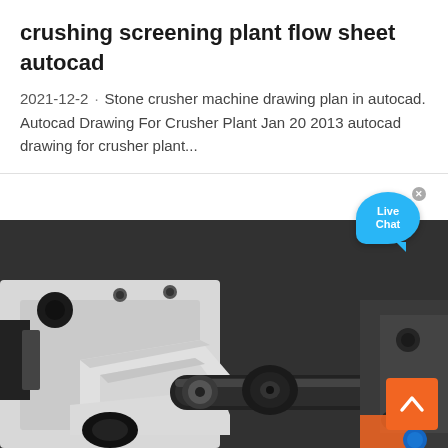crushing screening plant flow sheet autocad
2021-12-2 · Stone crusher machine drawing plan in autocad. Autocad Drawing For Crusher Plant Jan 20 2013 autocad drawing for crusher plant...
[Figure (photo): Close-up photograph of a stone crusher machine showing white metal frame, black cylindrical shaft/roller, hydraulic components, bolts and holes in the metal housing. Industrial crushing equipment.]